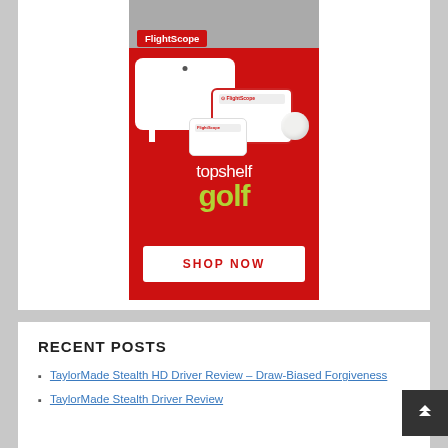[Figure (advertisement): FlightScope product advertisement on red background showing three FlightScope devices of different sizes, a golf ball, 'topshelf golf' branding text in white and lime green, and a white 'SHOP NOW' button at the bottom.]
RECENT POSTS
TaylorMade Stealth HD Driver Review – Draw-Biased Forgiveness
TaylorMade Stealth Driver Review